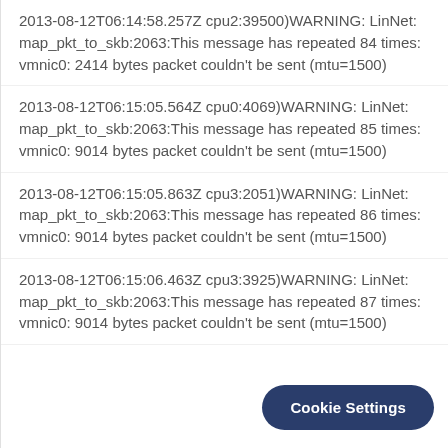2013-08-12T06:14:58.257Z cpu2:39500)WARNING: LinNet: map_pkt_to_skb:2063:This message has repeated 84 times: vmnic0: 2414 bytes packet couldn't be sent (mtu=1500)
2013-08-12T06:15:05.564Z cpu0:4069)WARNING: LinNet: map_pkt_to_skb:2063:This message has repeated 85 times: vmnic0: 9014 bytes packet couldn't be sent (mtu=1500)
2013-08-12T06:15:05.863Z cpu3:2051)WARNING: LinNet: map_pkt_to_skb:2063:This message has repeated 86 times: vmnic0: 9014 bytes packet couldn't be sent (mtu=1500)
2013-08-12T06:15:06.463Z cpu3:3925)WARNING: LinNet: map_pkt_to_skb:2063:This message has repeated 87 times: vmnic0: 9014 bytes packet couldn't be sent (mtu=1500)